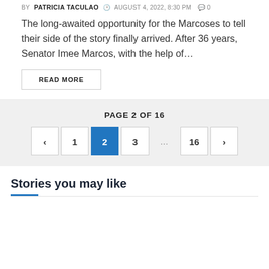BY PATRICIA TACULAO  AUGUST 4, 2022, 8:30 PM  0
The long-awaited opportunity for the Marcoses to tell their side of the story finally arrived. After 36 years, Senator Imee Marcos, with the help of…
READ MORE
PAGE 2 OF 16
[Figure (other): Pagination navigation showing pages: < 1 2 (active/selected, blue) 3 ... 16 >]
Stories you may like